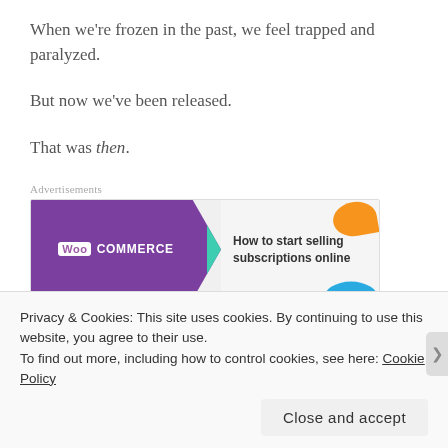When we're frozen in the past, we feel trapped and paralyzed.
But now we've been released.
That was then.
[Figure (other): WooCommerce advertisement banner: purple background with WooCommerce logo on the left, green arrow pointing right, text 'How to start selling subscriptions online' on the right, with orange and blue decorative shapes.]
And this is now.
Privacy & Cookies: This site uses cookies. By continuing to use this website, you agree to their use.
To find out more, including how to control cookies, see here: Cookie Policy
Close and accept